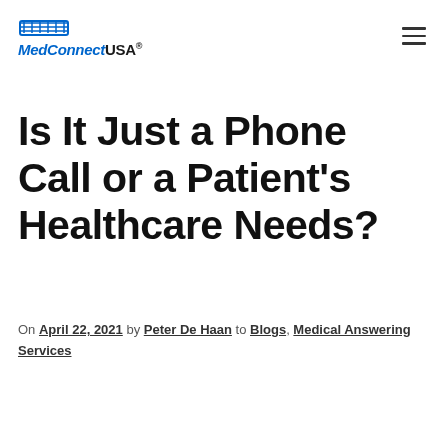MedConnectUSA
Is It Just a Phone Call or a Patient's Healthcare Needs?
On April 22, 2021 by Peter De Haan to Blogs, Medical Answering Services